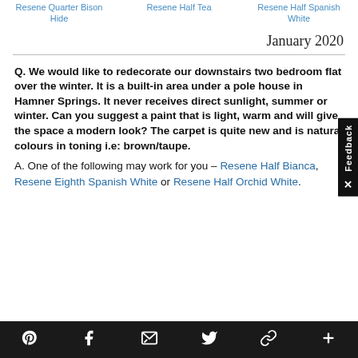Resene Quarter Bison Hide
Resene Half Tea
Resene Half Spanish White
January 2020
Q. We would like to redecorate our downstairs two bedroom flat over the winter. It is a built-in area under a pole house in Hamner Springs. It never receives direct sunlight, summer or winter. Can you suggest a paint that is light, warm and will give the space a modern look? The carpet is quite new and is natural colours in toning i.e: brown/taupe.
A. One of the following may work for you – Resene Half Bianca, Resene Eighth Spanish White or Resene Half Orchid White.
Social share bar with Pinterest, Facebook, Email, Twitter, Link, Plus icons